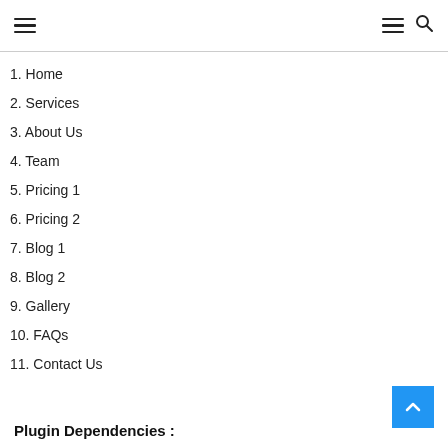Navigation menu with hamburger icons and search
1. Home
2. Services
3. About Us
4. Team
5. Pricing 1
6. Pricing 2
7. Blog 1
8. Blog 2
9. Gallery
10. FAQs
11. Contact Us
Plugin Dependencies :